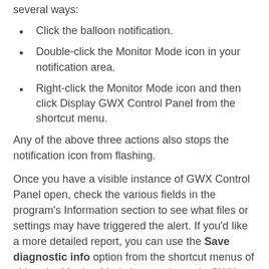several ways:
Click the balloon notification.
Double-click the Monitor Mode icon in your notification area.
Right-click the Monitor Mode icon and then click Display GWX Control Panel from the shortcut menu.
Any of the above three actions also stops the notification icon from flashing.
Once you have a visible instance of GWX Control Panel open, check the various fields in the program's Information section to see what files or settings may have triggered the alert. If you'd like a more detailed report, you can use the Save diagnostic info option from the shortcut menus of either the Monitor Mode icon or the main GWX Control Panel window.
When alerts are triggered:
Monitor Mode keeps track of which Windows 10 settings or files it discovered, and if you choose not to remedy a specific